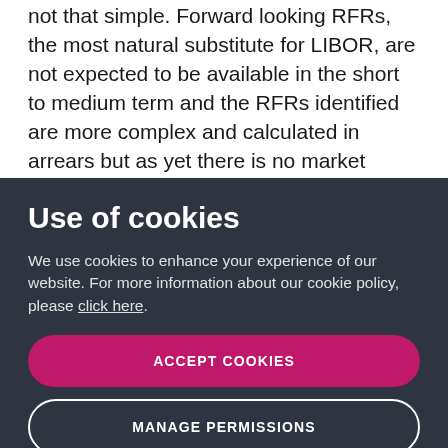not that simple. Forward looking RFRs, the most natural substitute for LIBOR, are not expected to be available in the short to medium term and the RFRs identified are more complex and calculated in arrears but as yet there is no market consensus on whether it is the rate itself or the interest payable.
Use of cookies
We use cookies to enhance your experience of our website. For more information about our cookie policy, please click here.
ACCEPT COOKIES
MANAGE PERMISSIONS